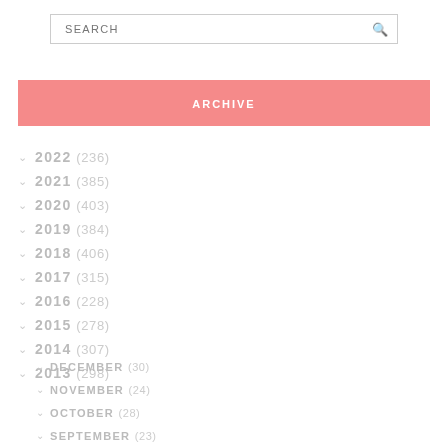SEARCH
ARCHIVE
2022 (236)
2021 (385)
2020 (403)
2019 (384)
2018 (406)
2017 (315)
2016 (228)
2015 (278)
2014 (307)
2013 (298)
DECEMBER (30)
NOVEMBER (24)
OCTOBER (28)
SEPTEMBER (23)